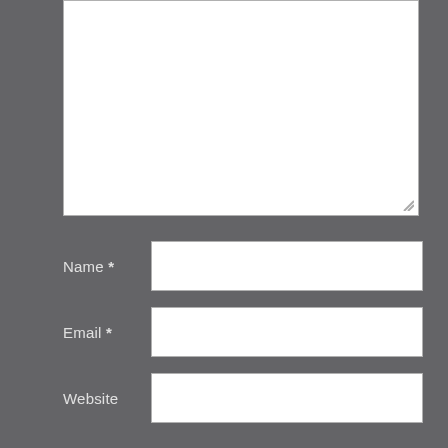[Figure (screenshot): A comment form textarea (large white empty input box) partially visible at the top of the page]
Name *
Email *
Website
Post Comment
Notify me of new comments via email.